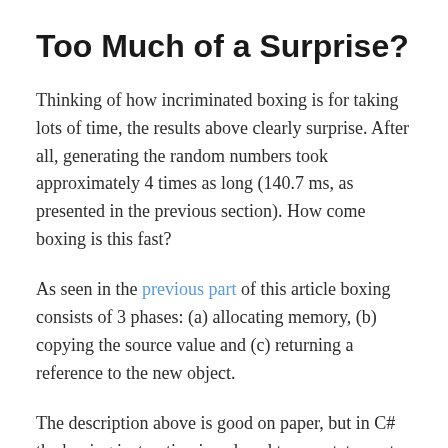Too Much of a Surprise?
Thinking of how incriminated boxing is for taking lots of time, the results above clearly surprise. After all, generating the random numbers took approximately 4 times as long (140.7 ms, as presented in the previous section). How come boxing is this fast?
As seen in the previous part of this article boxing consists of 3 phases: (a) allocating memory, (b) copying the source value and (c) returning a reference to the new object.
The description above is good on paper, but in C# the boxing instruction is reduced to one statement as we've seen. It's the same thing in IL, where the box instruction is what we end up with. But in assembler, to which the IL